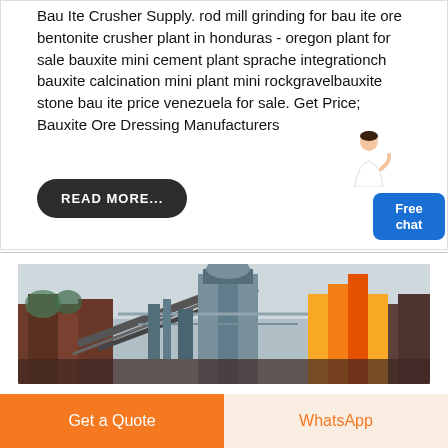Bau Ite Crusher Supply. rod mill grinding for bau ite ore bentonite crusher plant in honduras - oregon plant for sale bauxite mini cement plant sprache integrationch bauxite calcination mini plant mini rockgravelbauxite stone bau ite price venezuela for sale. Get Price; Bauxite Ore Dressing Manufacturers
READ MORE...
Free chat
[Figure (photo): Industrial mining or crushing plant equipment with large machinery, conveyors and storage structures outdoors]
Get a Quote
WhatsApp